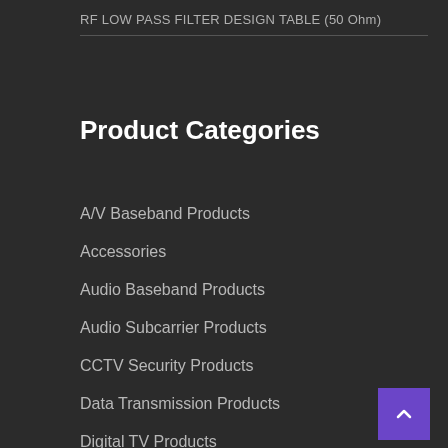RF LOW PASS FILTER DESIGN TABLE (50 Ohm)
Product Categories
A/V Baseband Products
Accessories
Audio Baseband Products
Audio Subcarrier Products
CCTV Security Products
Data Transmission Products
Digital TV Products
Electronic Parts & Components
Equipment Options